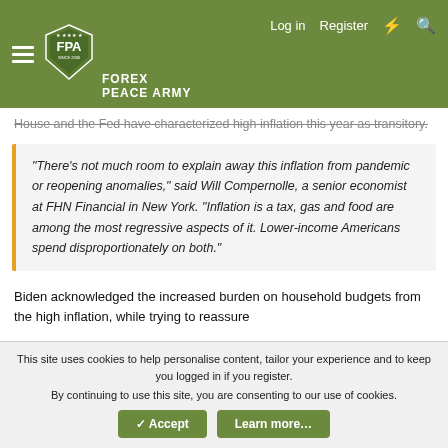[Figure (logo): Forex Peace Army navigation bar with FPA shield logo, hamburger menu, Log in, Register, lightning and search icons on olive/green background]
House and the Fed have characterized high inflation this year as transitory.
"There's not much room to explain away this inflation from pandemic or reopening anomalies," said Will Compernolle, a senior economist at FHN Financial in New York. "Inflation is a tax, gas and food are among the most regressive aspects of it. Lower-income Americans spend disproportionately on both."
Biden acknowledged the increased burden on household budgets from the high inflation, while trying to reassure
This site uses cookies to help personalise content, tailor your experience and to keep you logged in if you register.
By continuing to use this site, you are consenting to our use of cookies.